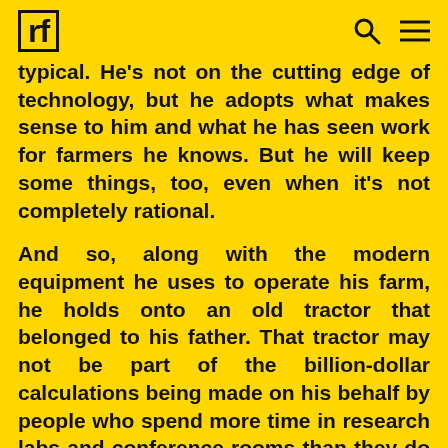rf [logo] [search icon] [menu icon]
typical. He's not on the cutting edge of technology, but he adopts what makes sense to him and what he has seen work for farmers he knows. But he will keep some things, too, even when it's not completely rational.
And so, along with the modern equipment he uses to operate his farm, he holds onto an old tractor that belonged to his father. That tractor may not be part of the billion-dollar calculations being made on his behalf by people who spend more time in research labs and conference rooms than they do on the farm, but it should be. It's handy for hauling small loads without putting hours on his bigger, more expensive tractors. And it reminds Slinker, he says, of why he got into farming in the first place, and that's something he'd like